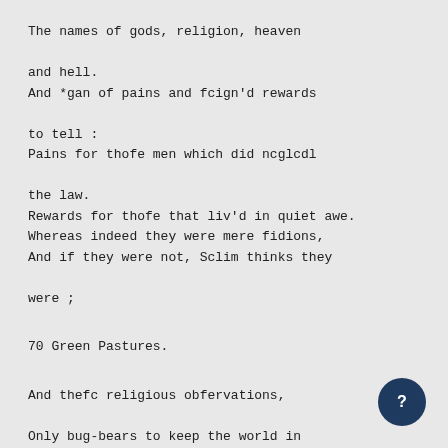The names of gods, religion, heaven

and hell.
And *gan of pains and fcign'd rewards

to tell :
Pains for thofe men which did ncglcdl

the law.
Rewards for thofe that liv'd in quiet awe.
Whereas indeed they were mere fidions,
And if they were not, Sclim thinks they

were ;
70 Green Pastures.
And thefc religious obfervations,

Only bug-bears to keep the world in